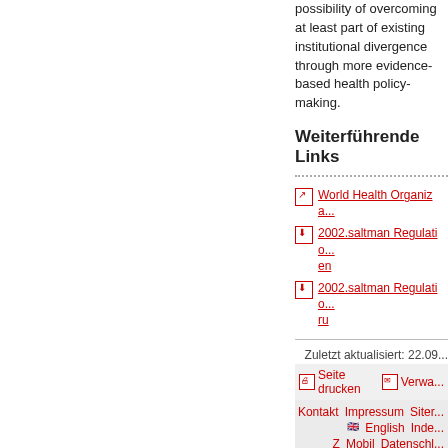possibility of overcoming at least part of the existing institutional divergence through more evidence-based health policy-making.
Weiterführende Links
World Health Organiza...
2002.saltman Regulatio... en
2002.saltman Regulatio... ru
Zuletzt aktualisiert: 22.09...
Seite drucken | Verwa...
Kontakt  Impressum  Siter... English  Inde... Z  Mobil  Datenschl...